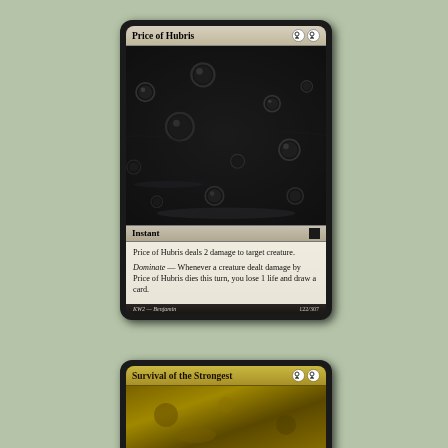[Figure (illustration): Magic: The Gathering card named 'Price of Hubris'. Black-bordered card with grey/beige title bar showing name and two black mana symbols. Art shows dark wet black stone/ground texture with water droplets and bubbles. Type line reads 'Instant' with a black set symbol square. Text box reads: 'Price of Hubris deals 2 damage to target creature. Dominate — Whenever a creature dealt damage by Price of Hubris dies this turn, you lose 1 life and draw a card.' Footer shows KW2 — Benjamin, 122/307.]
[Figure (illustration): Partial Magic: The Gathering card named 'Survival of the Strongest'. Gold-bordered card with golden title bar showing name and two black mana symbols. Art shows golden/brown metallic textured surface. Card is cropped showing only title bar and top portion of art.]